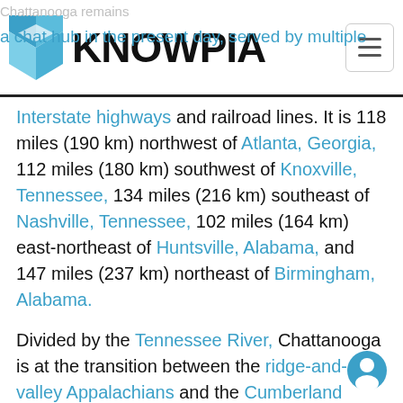KNOWPIA
Interstate highways and railroad lines. It is 118 miles (190 km) northwest of Atlanta, Georgia, 112 miles (180 km) southwest of Knoxville, Tennessee, 134 miles (216 km) southeast of Nashville, Tennessee, 102 miles (164 km) east-northeast of Huntsville, Alabama, and 147 miles (237 km) northeast of Birmingham, Alabama.
Divided by the Tennessee River, Chattanooga is at the transition between the ridge-and-valley Appalachians and the Cumberland Plateau, both of which are part of the larger Appalachian Mountains. Its official nickname is the "Scenic City", alluding to the surrounding mountains, ridges, and valleys. Unofficial nicknames include "River City", "Chatt", "Nooga", "Chattown",